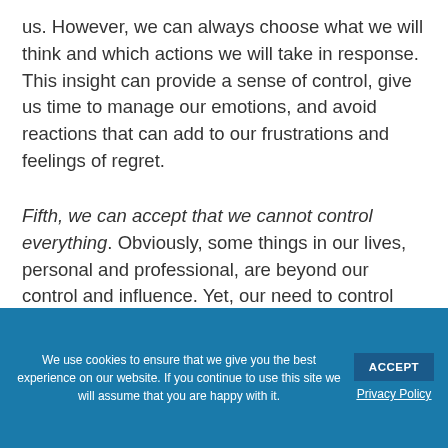us. However, we can always choose what we will think and which actions we will take in response. This insight can provide a sense of control, give us time to manage our emotions, and avoid reactions that can add to our frustrations and feelings of regret.
Fifth, we can accept that we cannot control everything. Obviously, some things in our lives, personal and professional, are beyond our control and influence. Yet, our need to control can leave us frustrated and depressed. The energy we spend wishing things were different and the frustration
We use cookies to ensure that we give you the best experience on our website. If you continue to use this site we will assume that you are happy with it.